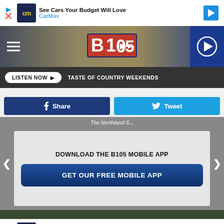[Figure (screenshot): CarMax advertisement banner at top with logo, text 'See Cars Your Budget Will Love', 'CarMax', and arrow icon]
[Figure (logo): B105 radio station header with logo, hamburger menu, and play button]
LISTEN NOW ▶  TASTE OF COUNTRY WEEKENDS
f Share
Tweet
The Northland S...
DOWNLOAD THE B105 MOBILE APP
GET OUR FREE MOBILE APP
[Figure (screenshot): CarMax advertisement banner at bottom with logo, text 'See Cars Your Budget Will Love', 'CarMax', and arrow icon]